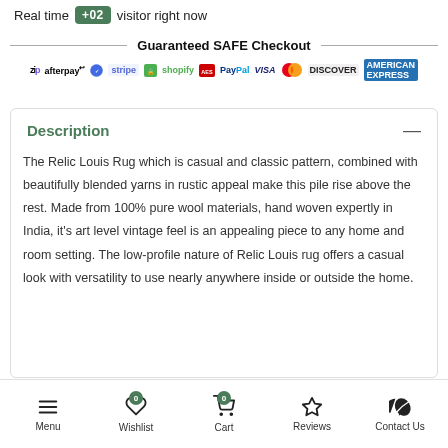Real time +02 visitor right now
[Figure (infographic): Guaranteed SAFE Checkout banner with payment logos: Zip, Afterpay, Stripe, Shopify, AES, PayPal, VISA, Mastercard, Discover, American Express]
Description
The Relic Louis Rug which is casual and classic pattern, combined with beautifully blended yarns in rustic appeal make this pile rise above the rest. Made from 100% pure wool materials, hand woven expertly in India, it's art level vintage feel is an appealing piece to any home and room setting. The low-profile nature of Relic Louis rug offers a casual look with versatility to use nearly anywhere inside or outside the home.
Menu | Wishlist 0 | Cart 0 | Reviews | Contact Us